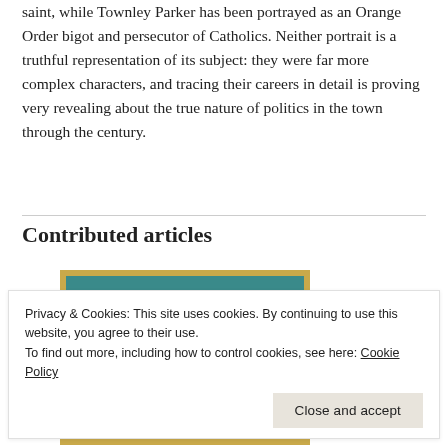saint, while Townley Parker has been portrayed as an Orange Order bigot and persecutor of Catholics. Neither portrait is a truthful representation of its subject: they were far more complex characters, and tracing their careers in detail is proving very revealing about the true nature of politics in the town through the century.
Contributed articles
[Figure (photo): A framed painting with a gold/yellow frame, showing a figure against a dark teal/green background. The painting is partially visible, cropped by the page.]
Privacy & Cookies: This site uses cookies. By continuing to use this website, you agree to their use.
To find out more, including how to control cookies, see here: Cookie Policy